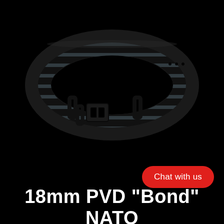[Figure (photo): A NATO-style watch strap with black and grey horizontal stripes and black PVD hardware (buckle and keepers), photographed on a black background. The strap is 18mm wide and features a Bond-style striped pattern.]
Chat with us
18mm PVD "Bond" NATO